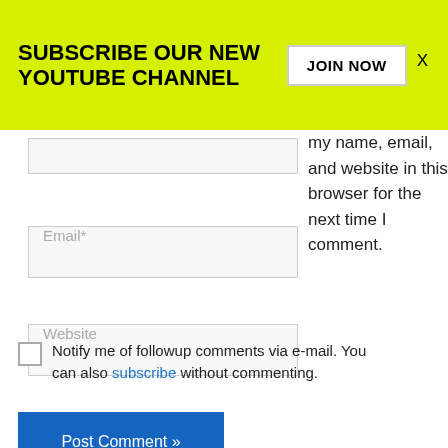SUBSCRIBE OUR NEW YOUTUBE CHANNEL
JOIN NOW
X
my name, email, and website in this browser for the next time I comment.
Email*
Website
Notify me of followup comments via e-mail. You can also subscribe without commenting.
Post Comment »
Translate »